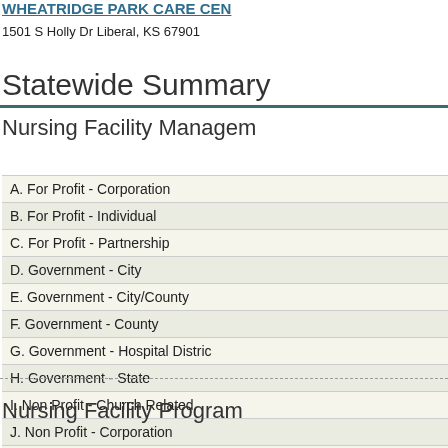WHEATRIDGE PARK CARE CENTER
1501 S Holly Dr Liberal, KS 67901
Statewide Summary
Nursing Facility Management
| A. For Profit - Corporation |
| B. For Profit - Individual |
| C. For Profit - Partnership |
| D. Government - City |
| E. Government - City/County |
| F. Government - County |
| G. Government - Hospital District |
| H. Government - State |
| I. Non Profit - Church Related |
| J. Non Profit - Corporation |
| K. Non Profit - Other |
Nursing Facility Program